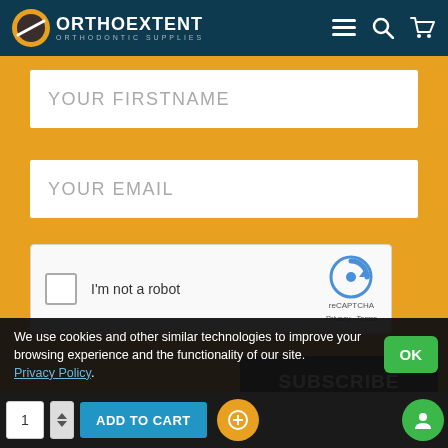[Figure (logo): OrthoExtent Orthodontic Supplies logo with yellow and dark circle icon on dark teal header background]
YOUR FIRSTNAME
YOUR EMAIL
[Figure (other): reCAPTCHA widget with checkbox, 'I'm not a robot' label, reCAPTCHA logo, Privacy and Terms links]
SUBSCRIBE
We use cookies and other similar technologies to improve your browsing experience and the functionality of our site. Privacy Policy.
OK
ADD TO CART